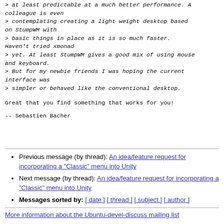> at least predictable at a much better performance. A colleague is even
> contemplating creating a light weight desktop based on StumpWM with
> basic things in place as it is so much faster. Haven't tried xmonad
> yet. At least StumpWM gives a good mix of using mouse and keyboard.
> But for my newbie friends I was hoping the current interface was
> simpler or behaved like the conventional desktop.
Great that you find something that works for you!
--
Sebastien Bacher
Previous message (by thread): An idea/feature request for incorporating a "Classic" menu into Unity
Next message (by thread): An idea/feature request for incorporating a "Classic" menu into Unity
Messages sorted by: [ date ] [ thread ] [ subject ] [ author ]
More information about the Ubuntu-devel-discuss mailing list